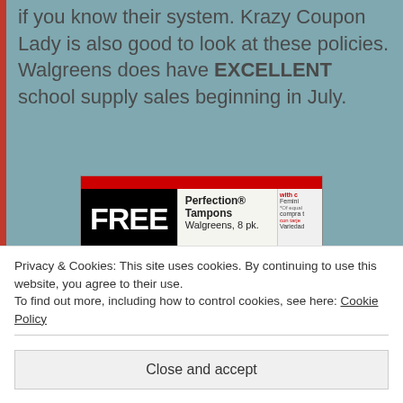if you know their system. Krazy Coupon Lady is also good to look at these policies. Walgreens does have EXCELLENT school supply sales beginning in July.
[Figure (photo): Photo of a Walgreens store advertisement showing a coupon deal: FREE Perfection Tampons Walgreens 8 pk. with card price 8.99, less coupon savings in most Sunday papers showing $3, final cost section. Also shows Clear Care and Opti-Moist contact solution products with 2000 points on 2 = $2 reward promotion.]
Privacy & Cookies: This site uses cookies. By continuing to use this website, you agree to their use.
To find out more, including how to control cookies, see here: Cookie Policy
Close and accept